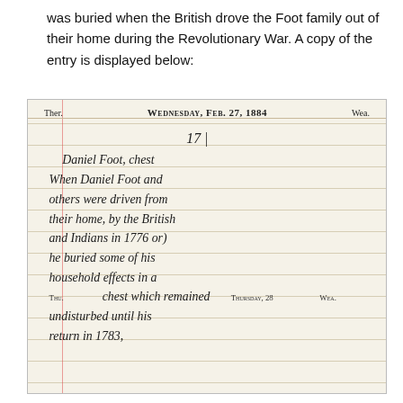was buried when the British drove the Foot family out of their home during the Revolutionary War. A copy of the entry is displayed below:
[Figure (photo): Photograph of a handwritten diary entry dated Wednesday, Feb. 27, 1884 on lined paper. The cursive text reads: 'Daniel Foot, chest. When Daniel Foot and others were driven from their home by the British and Indians in 1776 or) he buried some of his household effects in a chest which remained undisturbed until his return in 1783,' with a mid-entry header line reading 'Thu. Thursday, 28 Wea.']